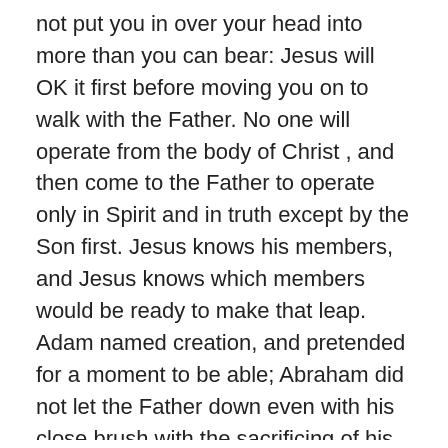not put you in over your head into more than you can bear: Jesus will OK it first before moving you on to walk with the Father. No one will operate from the body of Christ , and then come to the Father to operate only in Spirit and in truth except by the Son first. Jesus knows his members, and Jesus knows which members would be ready to make that leap. Adam named creation, and pretended for a moment to be able; Abraham did not let the Father down even with his close brush with the sacrificing of his son; Noah did a good impersonation of God in making it seem like a day was as a thousand years with him too: it took some faith spending all that time building that ark; Elijah was just taking up in a whirlwind; Enoch in Hebrews 11:5-6 just pleased God, “By faith Enoch was translated that he should not see death; and was not found, because God had translated him: for before his translation he had this